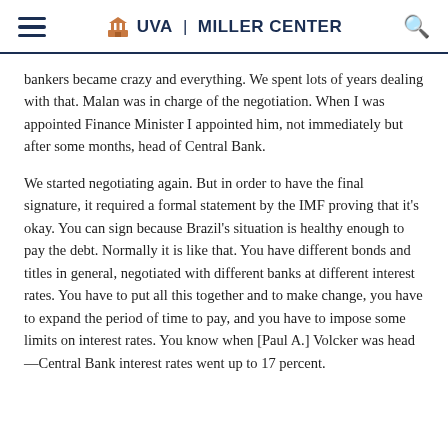UVA | MILLER CENTER
bankers became crazy and everything. We spent lots of years dealing with that. Malan was in charge of the negotiation. When I was appointed Finance Minister I appointed him, not immediately but after some months, head of Central Bank.
We started negotiating again. But in order to have the final signature, it required a formal statement by the IMF proving that it's okay. You can sign because Brazil's situation is healthy enough to pay the debt. Normally it is like that. You have different bonds and titles in general, negotiated with different banks at different interest rates. You have to put all this together and to make change, you have to expand the period of time to pay, and you have to impose some limits on interest rates. You know when [Paul A.] Volcker was head—Central Bank interest rates went up to 17 percent.